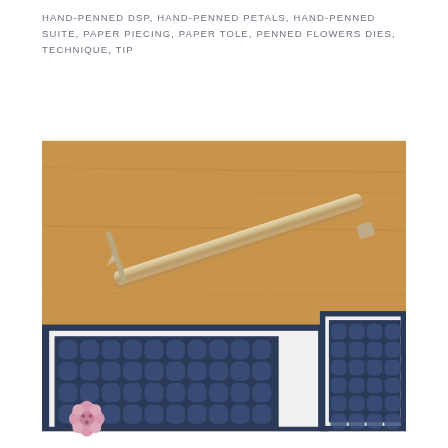HAND-PENNED DSP, HAND-PENNED PETALS, HAND-PENNED SUITE, PAPER PIECING, PAPER TOLE, PENNED FLOWERS DIES, TECHNIQUE, TIP
[Figure (photo): Close-up photo of a gold/silver pen resting on a wooden surface above a navy blue decorative card with a geometric lattice/circle pattern and a small pink flower embellishment in the lower left corner.]